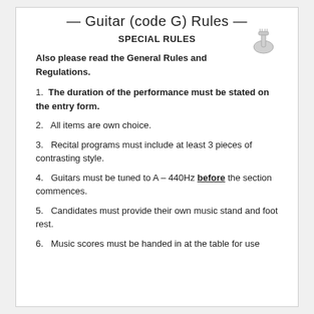— Guitar (code G) Rules —
SPECIAL RULES
Also please read the General Rules and Regulations.
1.  The duration of the performance must be stated on the entry form.
2.  All items are own choice.
3.  Recital programs must include at least 3 pieces of contrasting style.
4.  Guitars must be tuned to A – 440Hz before the section commences.
5.  Candidates must provide their own music stand and foot rest.
6.  Music scores must be handed in at the table for use